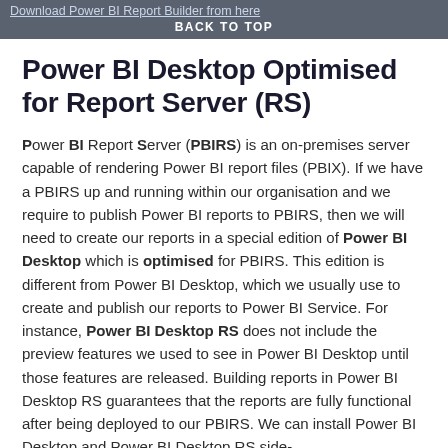Download Power BI Report Builder from here
BACK TO TOP
Power BI Desktop Optimised for Report Server (RS)
Power BI Report Server (PBIRS) is an on-premises server capable of rendering Power BI report files (PBIX). If we have a PBIRS up and running within our organisation and we require to publish Power BI reports to PBIRS, then we will need to create our reports in a special edition of Power BI Desktop which is optimised for PBIRS. This edition is different from Power BI Desktop, which we usually use to create and publish our reports to Power BI Service. For instance, Power BI Desktop RS does not include the preview features we used to see in Power BI Desktop until those features are released. Building reports in Power BI Desktop RS guarantees that the reports are fully functional after being deployed to our PBIRS. We can install Power BI Desktop and Power BI Desktop RS side-